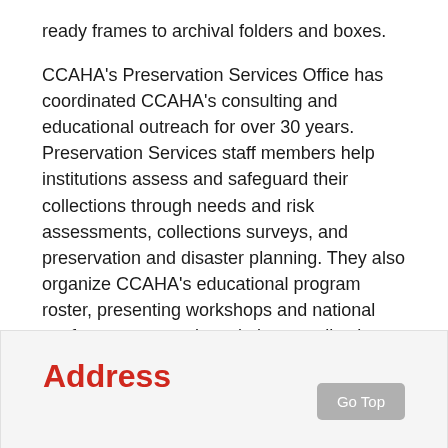ready frames to archival folders and boxes.
CCAHA's Preservation Services Office has coordinated CCAHA's consulting and educational outreach for over 30 years. Preservation Services staff members help institutions assess and safeguard their collections through needs and risk assessments, collections surveys, and preservation and disaster planning. They also organize CCAHA's educational program roster, presenting workshops and national conferences on topics relating to collections care and preservation planning. CCAHA offers fundraising support and grant writing assistance to institutions looking to fund conservation treatment.
Address